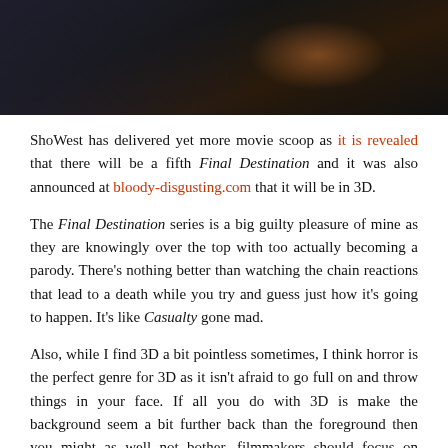[Figure (photo): Dark photograph, likely from inside a car or dark interior scene with reddish-orange tones in the upper right]
ShoWest has delivered yet more movie scoop as it is revealed that there will be a fifth Final Destination and it was also announced at bloody-disgusting.com that it will be in 3D.
The Final Destination series is a big guilty pleasure of mine as they are knowingly over the top with too actually becoming a parody. There's nothing better than watching the chain reactions that lead to a death while you try and guess just how it's going to happen. It's like Casualty gone mad.
Also, while I find 3D a bit pointless sometimes, I think horror is the perfect genre for 3D as it isn't afraid to go full on and throw things in your face. If all you do with 3D is make the background seem a bit further back than the foreground then you might as well not bother, filmmakers should focus on adding depth to their characters not the scenery.